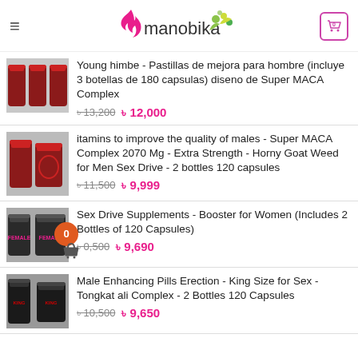manobika
Young himbe - Pastillas de mejora para hombre (incluye 3 botellas de 180 capsulas) diseno de Super MACA Complex | ৳ 13,200  ৳ 12,000
itamins to improve the quality of males - Super MACA Complex 2070 Mg - Extra Strength - Horny Goat Weed for Men Sex Drive - 2 bottles 120 capsules | ৳ 11,500  ৳ 9,999
Sex Drive Supplements - Booster for Women (Includes 2 Bottles of 120 Capsules) | ৳ 0,500  ৳ 9,690
Male Enhancing Pills Erection - King Size for Sex - Tongkat ali Complex - 2 Bottles 120 Capsules | ৳ 10,500  ৳ 9,650